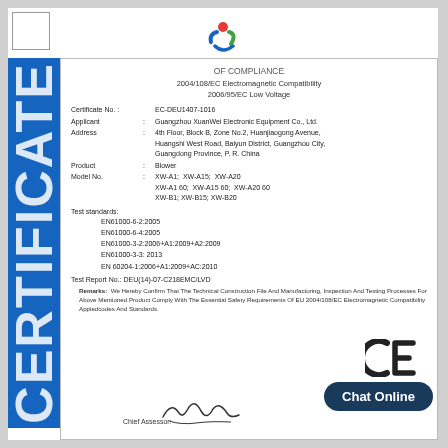[Figure (logo): Company logo with colorful circular design - red, blue, green arcs forming a figure]
OF COMPLIANCE
2004/108/EC Electromagnetic Compatibility
2006/95/EC Low Voltage
Certificate No. : EC-DEU1407-1016
Applicant : Guangzhou XuanWei Electronic Equipment Co., Ltd.
Address : 4th Floor, Block B, Zone No.2, Huanjiaogong Avenue, Huangshi West Road, Baiyun District, Guangzhou City, Guangdong Province, P. R. China
Product : Blower
Model No. : XW-A1; XW-A15; XW-A20
             XW-A1 60; XW-A15 60; XW-A20 60
             XW-B1; XW-B15; XW-B20
Test standards:
EN61000-6-2:2005
EN61000-6-4:2005
EN61000-3-2:2006+A1:2009+A2:2009
EN61000-3-3: 2013
EN 60204-1:2006+A1:2009+AC:2010
Test Report No.: DEU(14)-07-C218EMC/LVD
Remarks: We Hereby Confirm That The Technical Construction File And Manufacturing, Inspection And Testing Processes For Above Mentioned Product Comply With The Essential Safety Requirements Of EU 2004/108/EC Electromagnetic Compatibility Appledcodes And Standards.
[Figure (logo): CE certification mark - large CE letters]
Chief Assessor:
[Figure (illustration): Handwritten signature of Chief Assessor - Gladstone]